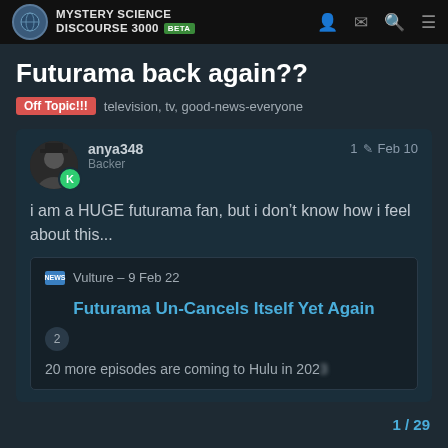Mystery Science Discourse 3000 BETA
Futurama back again??
Off Topic!!!  television, tv, good-news-everyone
anya348 Backer  1  Feb 10
i am a HUGE futurama fan, but i don't know how i feel about this...
Vulture – 9 Feb 22
Futurama Un-Cancels Itself Yet Again
2
20 more episodes are coming to Hulu in 2023
1 / 29